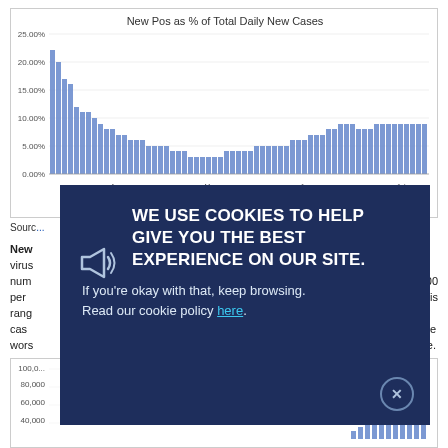[Figure (bar-chart): New Pos as % of Total Daily New Cases]
Sourc...
New... virus... number... 000 per... This range... cases... the worst... se.
[Figure (bar-chart): ]